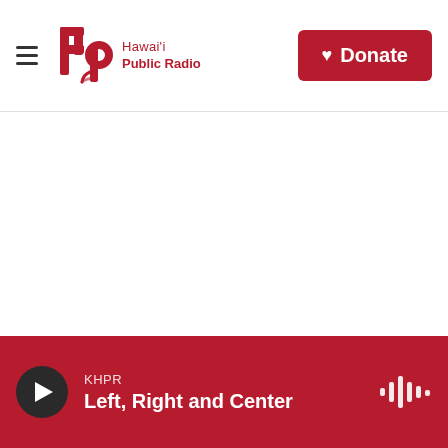Hawai'i Public Radio — navigation bar with Donate button
[Figure (logo): Hawai'i Public Radio logo with stylized 'hpr' icon in dark red and text 'Hawai'i Public Radio']
Donate
KHPR
Left, Right and Center